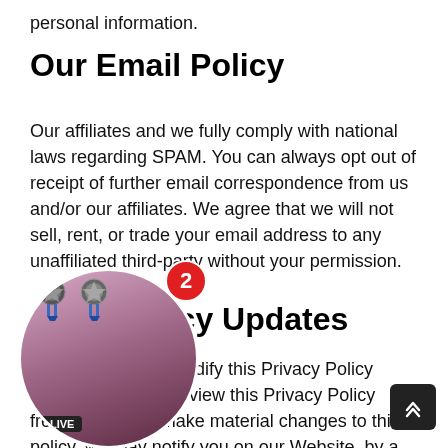personal information.
Our Email Policy
Our affiliates and we fully comply with national laws regarding SPAM. You can always opt out of receipt of further email correspondence from us and/or our affiliates. We agree that we will not sell, rent, or trade your email address to any unaffiliated third-party without your permission.
Privacy Policy Updates
e right to modify this Privacy Policy You should review this Privacy Policy frequently. If we make material changes to this policy, we may notify you on our Website, by a